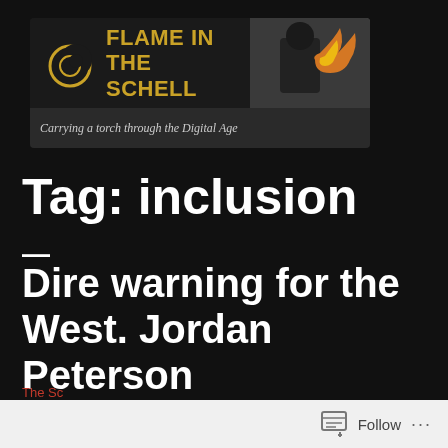[Figure (logo): Flame in the Schell blog banner logo with crescent moon/flame icon in gold, bold title text 'FLAME IN THE SCHELL' in gold uppercase, and a photo on the right showing a hooded figure with fire. Subtitle reads: 'Carrying a torch through the Digital Age']
Tag: inclusion
—
Dire warning for the West. Jordan Peterson interviewing Yeonmi Park.
The Sc
Follow ...